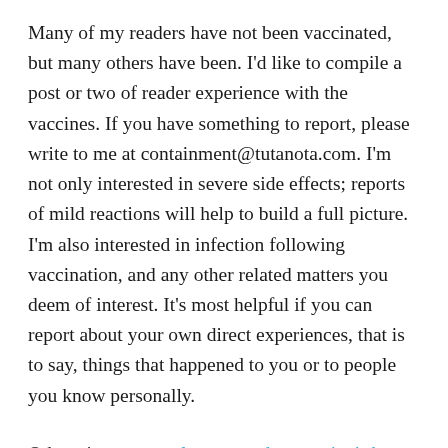Many of my readers have not been vaccinated, but many others have been. I'd like to compile a post or two of reader experience with the vaccines. If you have something to report, please write to me at containment@tutanota.com. I'm not only interested in severe side effects; reports of mild reactions will help to build a full picture. I'm also interested in infection following vaccination, and any other related matters you deem of interest. It's most helpful if you can report about your own direct experiences, that is to say, things that happened to you or to people you know personally.
Otherwise, to complete yesterday evening's hasty update, I provide a translation of Andreas Schöfbeck's letter to the Paul Ehrlich Institute, on the underreporting of vaccine side effects in Germany